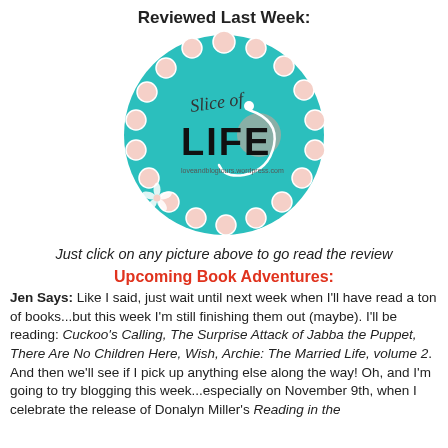Reviewed Last Week:
[Figure (logo): Circular teal logo with pink decorative circles border, text 'Slice of LIFE' in black bold lettering with white swirl decoration and small flower at bottom left]
Just click on any picture above to go read the review
Upcoming Book Adventures:
Jen Says: Like I said, just wait until next week when I'll have read a ton of books...but this week I'm still finishing them out (maybe). I'll be reading: Cuckoo's Calling, The Surprise Attack of Jabba the Puppet, There Are No Children Here, Wish, Archie: The Married Life, volume 2. And then we'll see if I pick up anything else along the way! Oh, and I'm going to try blogging this week...especially on November 9th, when I celebrate the release of Donalyn Miller's Reading in the